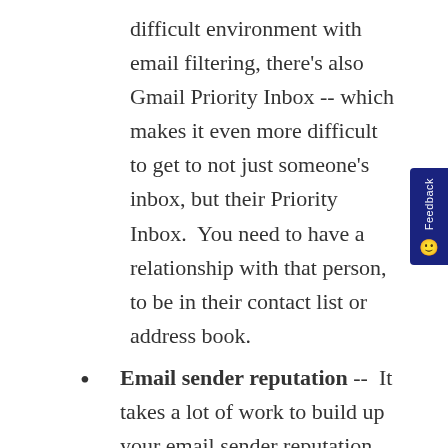difficult environment with email filtering, there's also Gmail Priority Inbox -- which makes it even more difficult to get to not just someone's inbox, but their Priority Inbox.  You need to have a relationship with that person, to be in their contact list or address book.
Email sender reputation --  It takes a lot of work to build up your email sender reputation, which can also be destroyed relatively quickly.
LinkedIn connection exporting and